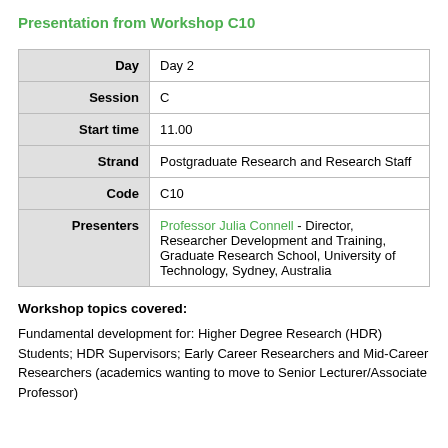Presentation from Workshop C10
|  |  |
| --- | --- |
| Day | Day 2 |
| Session | C |
| Start time | 11.00 |
| Strand | Postgraduate Research and Research Staff |
| Code | C10 |
| Presenters | Professor Julia Connell - Director, Researcher Development and Training, Graduate Research School, University of Technology, Sydney, Australia |
Workshop topics covered:
Fundamental development for: Higher Degree Research (HDR) Students; HDR Supervisors; Early Career Researchers and Mid-Career Researchers (academics wanting to move to Senior Lecturer/Associate Professor)